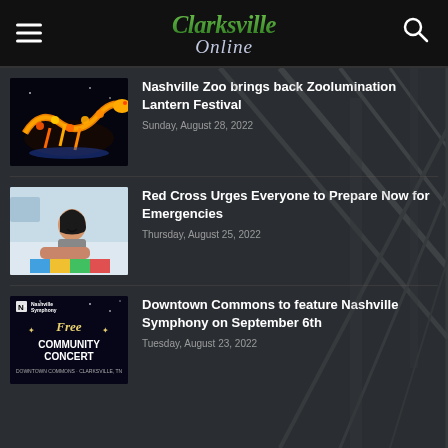Clarksville Online
[Figure (screenshot): Thumbnail image of illuminated dragon lantern at Nashville Zoo Zoolumination festival]
Nashville Zoo brings back Zoolumination Lantern Festival
Sunday, August 28, 2022
[Figure (photo): Woman smiling while donating blood at a Red Cross blood drive]
Red Cross Urges Everyone to Prepare Now for Emergencies
Thursday, August 25, 2022
[Figure (screenshot): Nashville Symphony Free Community Concert promotional image with text: Nashville Symphony, Free, Community Concert, Downtown Commons, Clarksville, TN]
Downtown Commons to feature Nashville Symphony on September 6th
Tuesday, August 23, 2022